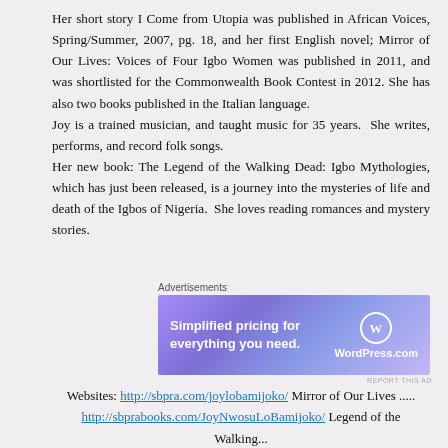Her short story I Come from Utopia was published in African Voices, Spring/Summer, 2007, pg. 18, and her first English novel; Mirror of Our Lives: Voices of Four Igbo Women was published in 2011, and was shortlisted for the Commonwealth Book Contest in 2012. She has also two books published in the Italian language. Joy is a trained musician, and taught music for 35 years.  She writes, performs, and record folk songs. Her new book: The Legend of the Walking Dead: Igbo Mythologies, which has just been released, is a journey into the mysteries of life and death of the Igbos of Nigeria.  She loves reading romances and mystery stories.
Advertisements
[Figure (other): WordPress.com advertisement banner: 'Simplified pricing for everything you need.' with WordPress.com logo on gradient purple background.]
REPORT THIS AD
Websites: http://sbpra.com/joylobamijoko/ Mirror of Our Lives ..... http://sbprabooks.com/JoyNwosuLoBamijoko/ Legend of the Walking...